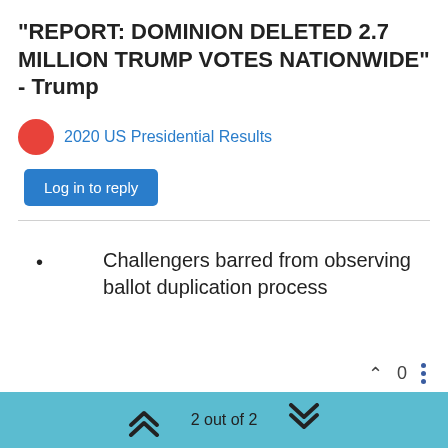"REPORT: DOMINION DELETED 2.7 MILLION TRUMP VOTES NATIONWIDE" - Trump
2020 US Presidential Results
Log in to reply
Challengers barred from observing ballot duplication process
0
About
Privacy Policy
2 out of 2